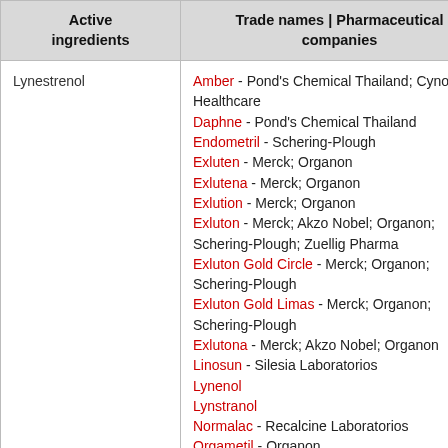| Active ingredients | Trade names | Pharmaceutical companies |
| --- | --- |
| Lynestrenol | Amber - Pond's Chemical Thailand; Cyno Sure Healthcare
Daphne - Pond's Chemical Thailand
Endometril - Schering-Plough
Exluten - Merck; Organon
Exlutena - Merck; Organon
Exlution - Merck; Organon
Exluton - Merck; Akzo Nobel; Organon; Schering-Plough; Zuellig Pharma
Exluton Gold Circle - Merck; Organon; Schering-Plough
Exluton Gold Limas - Merck; Organon; Schering-Plough
Exlutona - Merck; Akzo Nobel; Organon
Linosun - Silesia Laboratorios
Lynenol
Lynstranol
Normalac - Recalcine Laboratorios
Orgametil - Organon |